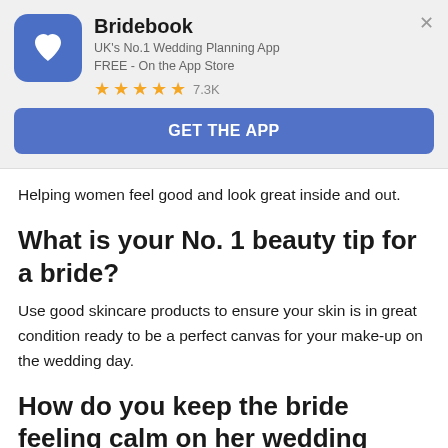[Figure (other): Bridebook app advertisement banner with app icon (blue rounded square with heart/letter B logo), app name, subtitle, star rating, and GET THE APP button]
Helping women feel good and look great inside and out.
What is your No. 1 beauty tip for a bride?
Use good skincare products to ensure your skin is in great condition ready to be a perfect canvas for your make-up on the wedding day.
How do you keep the bride feeling calm on her wedding day?
I have been told I have a calming nature and after nearly